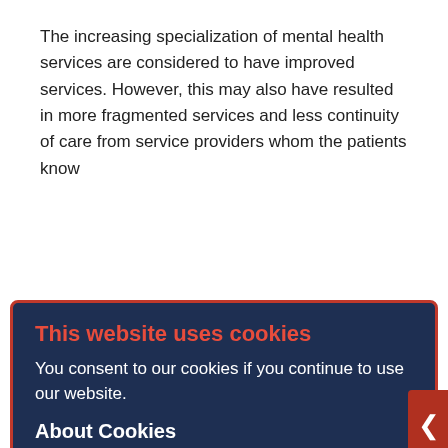The increasing specialization of mental health services are considered to have improved services. However, this may also have resulted in more fragmented services and less continuity of care from service providers whom the patients know and trust. This can be a particular problem for patients with severe mental illnesses. As the outcomes of routine mental health services are usually not measured, the effects of community-based mental care for the patients and their families are mostly unknown.
Keywords
community-based mental healthcare, mental health services, community mental health centres, community psychiatry, Norway
Full Text
This website uses cookies
You consent to our cookies if you continue to use our website.
About Cookies
OK